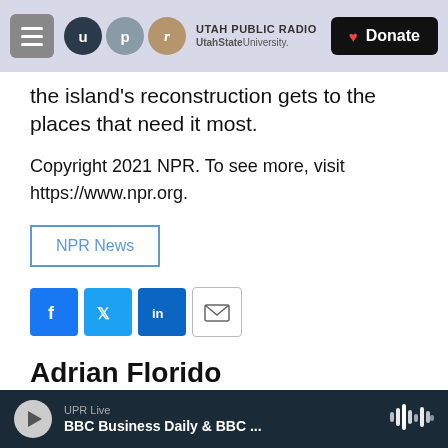Utah Public Radio — UtahState University | Donate
the island's reconstruction gets to the places that need it most.
Copyright 2021 NPR. To see more, visit https://www.npr.org.
NPR News
[Figure (infographic): Social sharing buttons: Facebook (f), Twitter (bird icon), LinkedIn (in), Email (envelope icon)]
Adrian Florido
UPR Live — BBC Business Daily & BBC ...